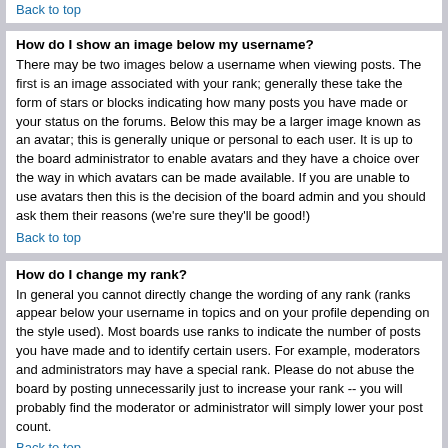Back to top
How do I show an image below my username?
There may be two images below a username when viewing posts. The first is an image associated with your rank; generally these take the form of stars or blocks indicating how many posts you have made or your status on the forums. Below this may be a larger image known as an avatar; this is generally unique or personal to each user. It is up to the board administrator to enable avatars and they have a choice over the way in which avatars can be made available. If you are unable to use avatars then this is the decision of the board admin and you should ask them their reasons (we're sure they'll be good!)
Back to top
How do I change my rank?
In general you cannot directly change the wording of any rank (ranks appear below your username in topics and on your profile depending on the style used). Most boards use ranks to indicate the number of posts you have made and to identify certain users. For example, moderators and administrators may have a special rank. Please do not abuse the board by posting unnecessarily just to increase your rank -- you will probably find the moderator or administrator will simply lower your post count.
Back to top
When I click the email link for a user it asks me to log in.
Sorry, but only registered users can send email to people via the built-in email